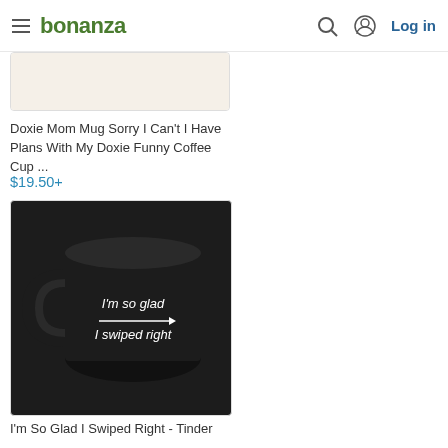bonanza — Log in
[Figure (photo): Partial product image of a mug (cropped, top portion only) with brown/tan coloring]
Doxie Mom Mug Sorry I Can't I Have Plans With My Doxie Funny Coffee Cup ...
$19.50+
[Figure (photo): Black ceramic mug with white text reading 'I'm so glad → I swiped right']
I'm So Glad I Swiped Right - Tinder